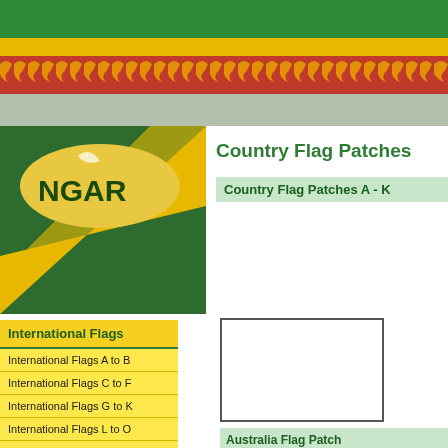[Figure (illustration): Green header band at top of page]
[Figure (illustration): Gold/yellow band below green header]
[Figure (illustration): Red band with repeating dragon pattern]
[Figure (illustration): Grey/olive band below dragon band]
[Figure (illustration): Partial flag image showing NGAR text on gold circle over green and yellow diagonal background]
Country Flag Patches
Country Flag Patches A - K
International Flags
International Flags A to B
International Flags C to F
International Flags G to K
International Flags L to O
International Flags P to S
International Flags T to Z
Australian State Flags
[Figure (photo): Australia flag patch product image, white rectangle with border]
Australia Flag Patch Embroidered Flag Patch $ 5.0